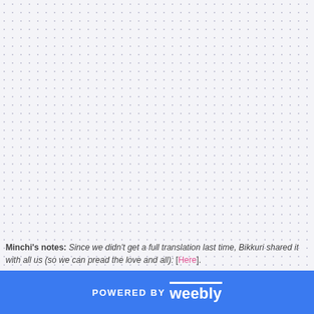Minchi's notes: Since we didn't get a full translation last time, Bikkuri shared it with all us (so we can pread the love and all): [Here].
POWERED BY weebly